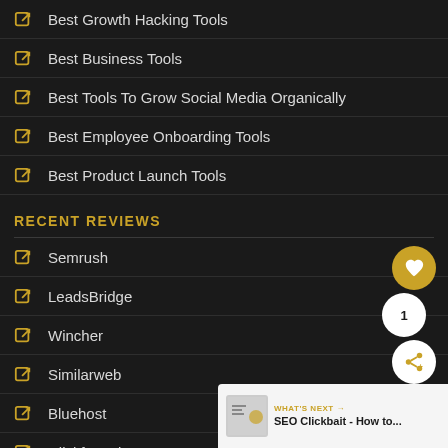Best Growth Hacking Tools
Best Business Tools
Best Tools To Grow Social Media Organically
Best Employee Onboarding Tools
Best Product Launch Tools
RECENT REVIEWS
Semrush
LeadsBridge
Wincher
Similarweb
Bluehost
Clickfunnels